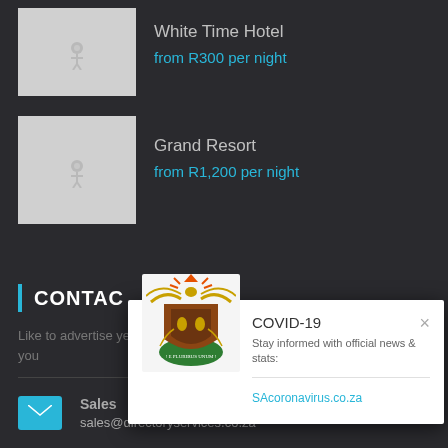[Figure (photo): Hotel listing thumbnail placeholder image for White Time Hotel]
White Time Hotel
from R300 per night
[Figure (photo): Hotel listing thumbnail placeholder image for Grand Resort]
Grand Resort
from R1,200 per night
CONTACT
Like to advertise ye you
Sales
sales@directoryservices.co.za
[Figure (other): COVID-19 popup with South Africa government coat of arms logo. Title: COVID-19. Text: Stay informed with official news & stats:. Link: SAcoronavirus.co.za. Close button X.]